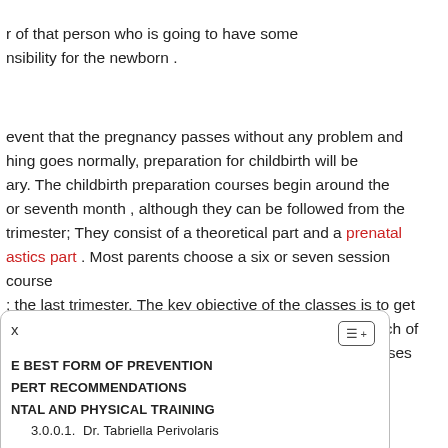r of that person who is going to have some nsibility for the newborn . event that the pregnancy passes without any problem and hing goes normally, preparation for childbirth will be ary. The childbirth preparation courses begin around the or seventh month , although they can be followed from the trimester; They consist of a theoretical part and a prenatal astics part . Most parents choose a six or seven session course ; the last trimester. The key objective of the classes is to get to cope with the physical effort involved in the final stretch of ancy and the birth of the baby , but the preparation courses ldbirth cover much more.
x
[Figure (other): Table of contents icon with three horizontal lines and a plus symbol]
E BEST FORM OF PREVENTION
PERT RECOMMENDATIONS
NTAL AND PHYSICAL TRAINING
3.0.0.1.  Dr. Tabriella Perivolaris